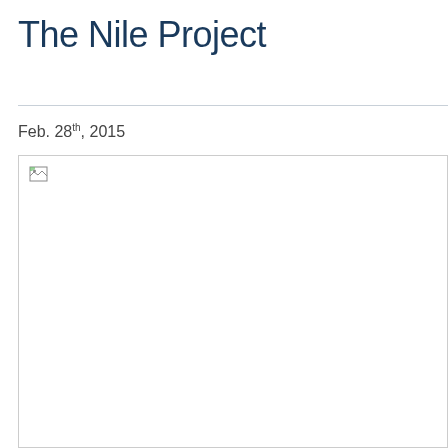The Nile Project
Feb. 28th, 2015
[Figure (photo): Broken/missing image placeholder for The Nile Project, Feb. 28th, 2015]